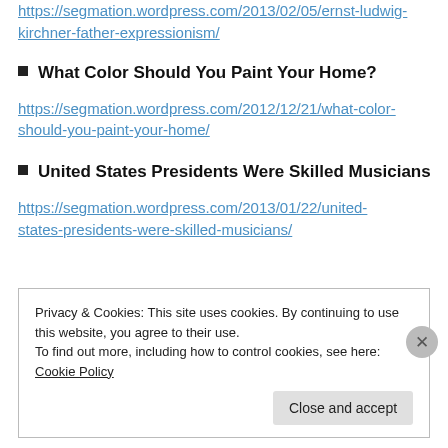https://segmation.wordpress.com/2013/02/05/ernst-ludwig-kirchner-father-expressionism/
What Color Should You Paint Your Home?
https://segmation.wordpress.com/2012/12/21/what-color-should-you-paint-your-home/
United States Presidents Were Skilled Musicians
https://segmation.wordpress.com/2013/01/22/united-states-presidents-were-skilled-musicians/
Privacy & Cookies: This site uses cookies. By continuing to use this website, you agree to their use. To find out more, including how to control cookies, see here: Cookie Policy
Close and accept